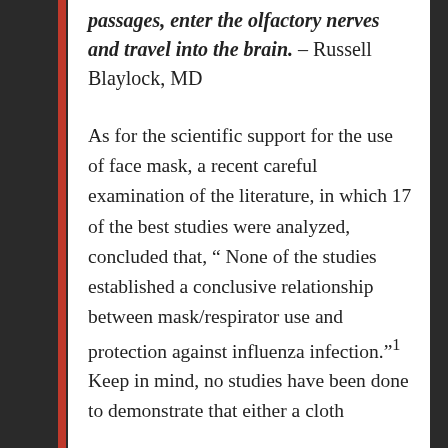passages, enter the olfactory nerves and travel into the brain. – Russell Blaylock, MD
As for the scientific support for the use of face mask, a recent careful examination of the literature, in which 17 of the best studies were analyzed, concluded that, “ None of the studies established a conclusive relationship between mask/respirator use and protection against influenza infection.”¹  Keep in mind, no studies have been done to demonstrate that either a cloth